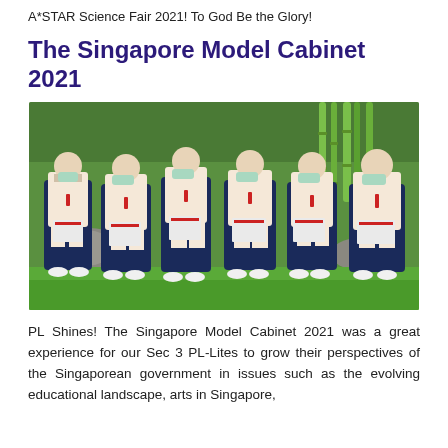A*STAR Science Fair 2021! To God Be the Glory!
The Singapore Model Cabinet 2021
[Figure (photo): Six female students in school uniforms (white shirts, navy skirts, red ties) wearing face masks and holding certificates, standing outdoors on grass with bamboo and rocks in the background.]
PL Shines! The Singapore Model Cabinet 2021 was a great experience for our Sec 3 PL-Lites to grow their perspectives of the Singaporean government in issues such as the evolving educational landscape, arts in Singapore,